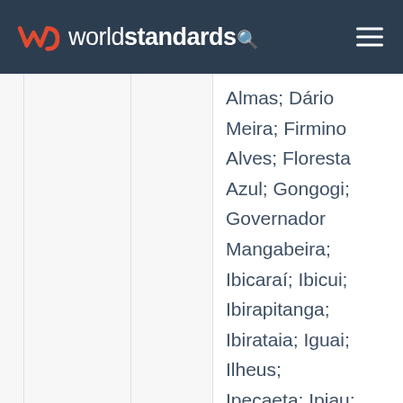worldstandards
Almas; Dário Meira; Firmino Alves; Floresta Azul; Gongogi; Governador Mangabeira; Ibicaraí; Ibicui; Ibirapitanga; Ibirataia; Iguai; Ilheus; Ipecaeta; Ipiau; Irará; Itabuna; Itacaré; Itagiba; Itaju do Colonia;